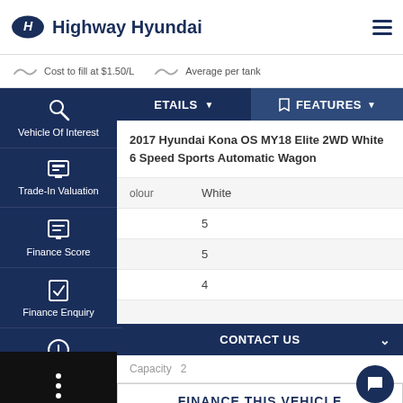[Figure (logo): Highway Hyundai logo with Hyundai oval emblem and text]
Cost to fill at $1.50/L    Average per tank
Vehicle Of Interest
Trade-In Valuation
Finance Score
Finance Enquiry
Book A Test Drive
DETAILS
FEATURES
2017 Hyundai Kona OS MY18 Elite 2WD White 6 Speed Sports Automatic Wagon
olour   White
5
5
4
CONTACT US
Capacity   2
FINANCE THIS VEHICLE